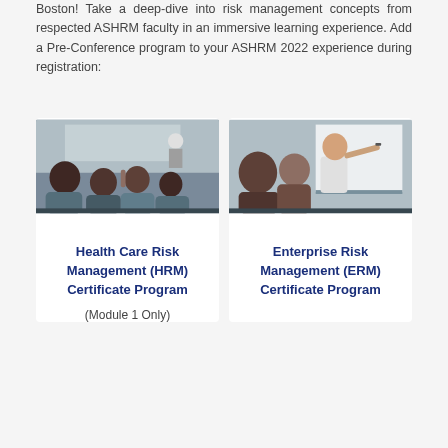Boston! Take a deep-dive into risk management concepts from respected ASHRM faculty in an immersive learning experience. Add a Pre-Conference program to your ASHRM 2022 experience during registration:
[Figure (photo): People seated at a conference, viewed from behind, with a presenter at the front holding papers]
Health Care Risk Management (HRM) Certificate Program
(Module 1 Only)
[Figure (photo): A man writing on a whiteboard while others look on in a training or workshop setting]
Enterprise Risk Management (ERM) Certificate Program